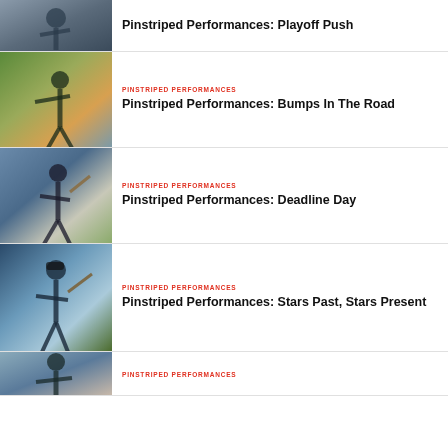Pinstriped Performances: Playoff Push
PINSTRIPED PERFORMANCES
Pinstriped Performances: Bumps In The Road
PINSTRIPED PERFORMANCES
Pinstriped Performances: Deadline Day
PINSTRIPED PERFORMANCES
Pinstriped Performances: Stars Past, Stars Present
PINSTRIPED PERFORMANCES